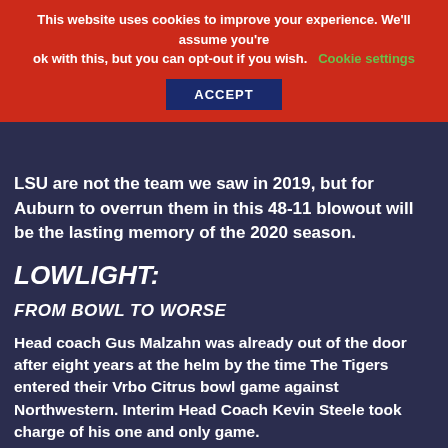This website uses cookies to improve your experience. We'll assume you're ok with this, but you can opt-out if you wish. Cookie settings ACCEPT
LSU are not the team we saw in 2019, but for Auburn to overrun them in this 48-11 blowout will be the lasting memory of the 2020 season.
LOWLIGHT:
FROM BOWL TO WORSE
Head coach Gus Malzahn was already out of the door after eight years at the helm by the time The Tigers entered their Vrbo Citrus bowl game against Northwestern. Interim Head Coach Kevin Steele took charge of his one and only game.
Northwestern had impressed throughout the 2020